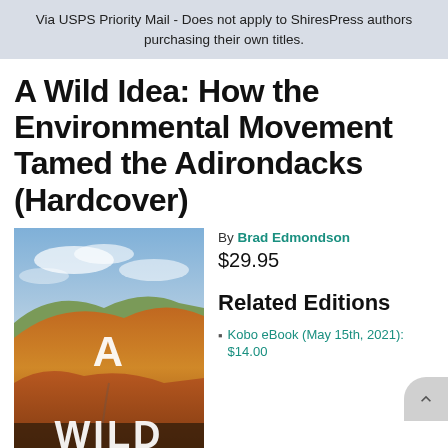Via USPS Priority Mail - Does not apply to ShiresPress authors purchasing their own titles.
A Wild Idea: How the Environmental Movement Tamed the Adirondacks (Hardcover)
[Figure (photo): Book cover for 'A Wild Idea' showing aerial autumn mountain landscape with large white text overlay reading 'A WILD']
By Brad Edmondson
$29.95
Related Editions
Kobo eBook (May 15th, 2021): $14.00